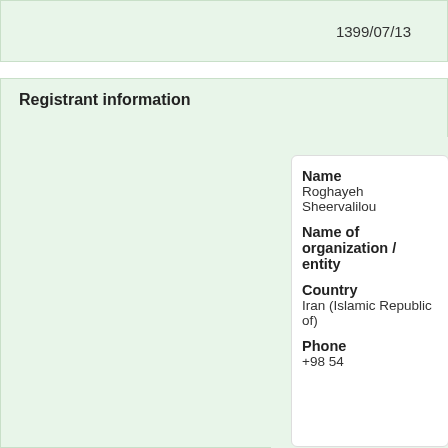1399/07/13
Registrant information
| Field | Value |
| --- | --- |
| Name | Roghayeh Sheervalilou |
| Name of organization / entity |  |
| Country | Iran (Islamic Republic of) |
| Phone | +98 54 |